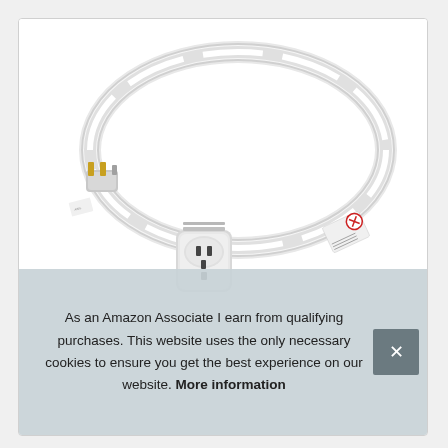[Figure (photo): Product photo of a white electrical extension cord / power cable coiled in a loop. The cable has a standard 3-prong outlet receptacle at one end and a plug with gold-colored prongs at the other end. A warning label tag is visible near one end. The cable is white and coiled in an oval shape on a white background.]
As an Amazon Associate I earn from qualifying purchases. This website uses the only necessary cookies to ensure you get the best experience on our website. More information